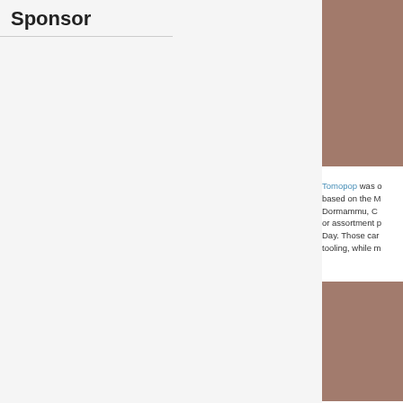Sponsor
[Figure (photo): Partial photo cut off at right edge, top area, brownish-red tones]
Tomopop was o based on the M Dormammu, C or assortment p Day. Those car tooling, while m
[Figure (photo): Partial photo cut off at right edge, bottom area, brownish-red tones]